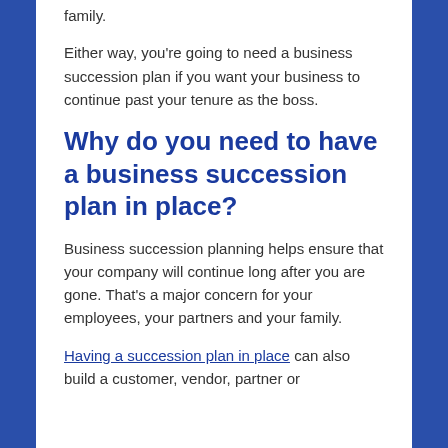family.
Either way, you’re going to need a business succession plan if you want your business to continue past your tenure as the boss.
Why do you need to have a business succession plan in place?
Business succession planning helps ensure that your company will continue long after you are gone. That’s a major concern for your employees, your partners and your family.
Having a succession plan in place can also build a customer, vendor, partner or